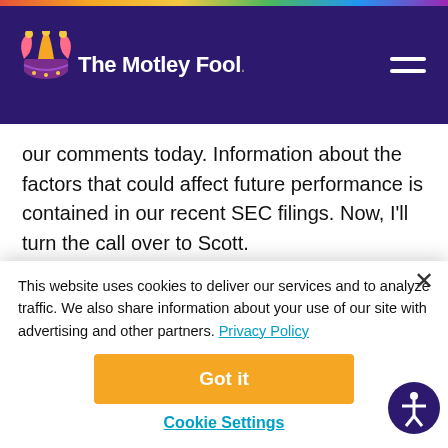The Motley Fool
our comments today. Information about the factors that could affect future performance is contained in our recent SEC filings. Now, I'll turn the call over to Scott.
Scott Stephenson -- Chairman, President, and
This website uses cookies to deliver our services and to analyze traffic. We also share information about your use of our site with advertising and other partners. Privacy Policy
Got it
Cookie Settings